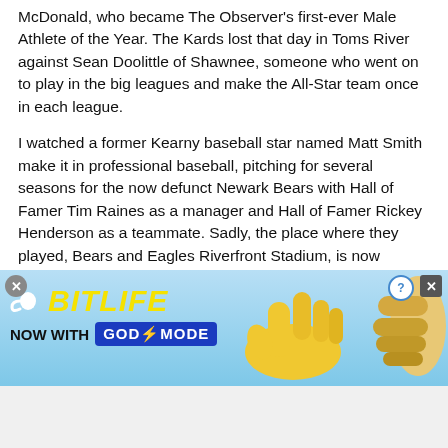McDonald, who became The Observer's first-ever Male Athlete of the Year. The Kards lost that day in Toms River against Sean Doolittle of Shawnee, someone who went on to play in the big leagues and make the All-Star team once in each league.
I watched a former Kearny baseball star named Matt Smith make it in professional baseball, pitching for several seasons for the now defunct Newark Bears with Hall of Famer Tim Raines as a manager and Hall of Famer Rickey Henderson as a teammate. Sadly, the place where they played, Bears and Eagles Riverfront Stadium, is now history, destroyed to build a commercial complex that never happened. Where the once-majestic stadium stood is now a vacant lot of sand and gravel.
I was fortunate to tell tales of joy and celebration, of
[Figure (infographic): BitLife mobile game advertisement banner. Light blue background. Shows BitLife logo with sperm icon and yellow text. Tagline: NOW WITH GOD MODE in dark blue box. Yellow hand/finger pointing icon and large illustrated hand on right side. Close button (X) and help (?) button in top right corner.]